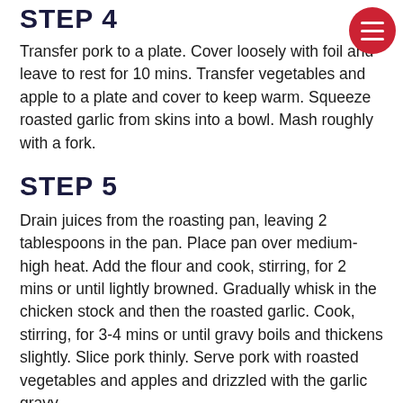STEP 4
Transfer pork to a plate. Cover loosely with foil and leave to rest for 10 mins. Transfer vegetables and apple to a plate and cover to keep warm. Squeeze roasted garlic from skins into a bowl. Mash roughly with a fork.
STEP 5
Drain juices from the roasting pan, leaving 2 tablespoons in the pan. Place pan over medium-high heat. Add the flour and cook, stirring, for 2 mins or until lightly browned. Gradually whisk in the chicken stock and then the roasted garlic. Cook, stirring, for 3-4 mins or until gravy boils and thickens slightly. Slice pork thinly. Serve pork with roasted vegetables and apples and drizzled with the garlic gravy.
TIP: If you have time, remove the pork from the packaging, place on a plate in the fridge, uncovered, for